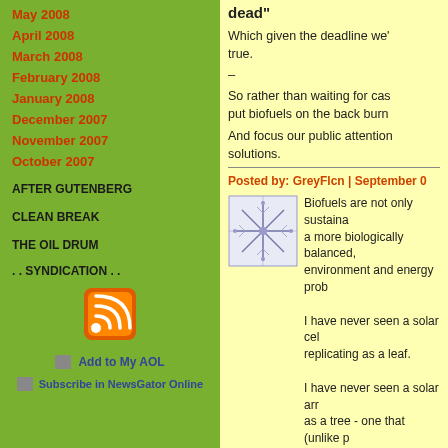May 2008
April 2008
March 2008
February 2008
January 2008
December 2007
November 2007
October 2007
AFTER GUTENBERG
CLEAN BREAK
THE OIL DRUM
. . SYNDICATION . .
[Figure (logo): RSS feed icon - orange rounded square with white wifi-style signal lines]
Add to My AOL
Subscribe in NewsGator Online
dead"
Which given the deadline we' true.
–
So rather than waiting for cas put biofuels on the back burn
And focus our public attention solutions.
Posted by: GreyFlcn | September 0
[Figure (illustration): Square decorative image with geometric star/snowflake pattern in blue/gray on white background]
Biofuels are not only sustaina a more biologically balanced, environment and energy prob
I have never seen a solar cel replicating as a leaf.
I have never seen a solar arr as a tree - one that (unlike p creates purifies the surroundi water purification, soil nutrifi